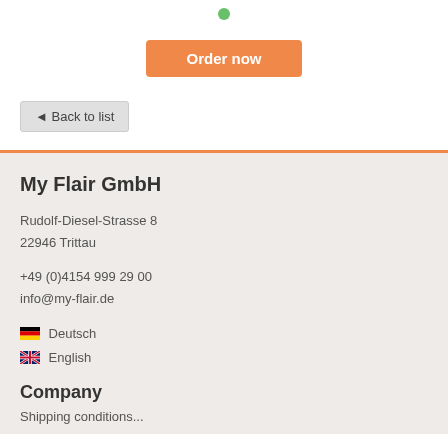[Figure (other): Green availability dot indicator at top of page]
Order now
◄ Back to list
My Flair GmbH
Rudolf-Diesel-Strasse 8
22946 Trittau
+49 (0)4154 999 29 00
info@my-flair.de
🇩🇪 Deutsch
🇬🇧 English
Company
Shipping conditions